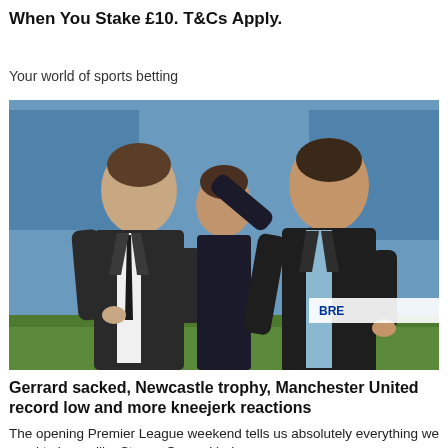When You Stake £10. T&Cs Apply.
Your world of sports betting
[Figure (photo): Two men in dark suits standing on a football pitch with stadium seats in background, likely Steven Gerrard and Frank Lampard]
Gerrard sacked, Newcastle trophy, Manchester United record low and more kneejerk reactions
The opening Premier League weekend tells us absolutely everything we need to know, like Steven Gerrard being